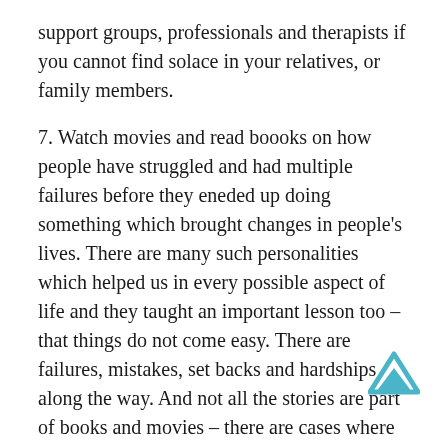support groups, professionals and therapists if you cannot find solace in your relatives, or family members.
7. Watch movies and read boooks on how people have struggled and had multiple failures before they eneded up doing something which brought changes in people's lives. There are many such personalities which helped us in every possible aspect of life and they taught an important lesson too – that things do not come easy. There are failures, mistakes, set backs and hardships along the way. And not all the stories are part of books and movies – there are cases where the end result was not that bright. And I mean it, these cases are far too many than you think.